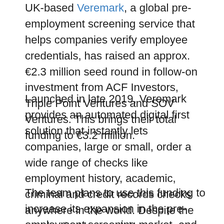UK-based Veremark, a global pre-employment screening service that helps companies verify employee credentials, has raised an approx. €2.3 million seed round in follow-on investment from ACF Investors, Triple Point Ventures and SOV Ventures. This brings their total funding to €3.2 million.
Launched in late 2019, Veremark provides an automated digital first solution that instantly lets companies, large or small, order a wide range of checks like employment history, academic, criminal and credit records checks anywhere in the world. Despite the pandemic, Veremark has grown more than 800% in the last 12 months, delivering thousands of checks per month to its range of global clients, with more than around €842.3 million ARR in monthly sales.
The team plans to use this funding to increase its expansion in the pre-employment screening market, and offers both a standalone web platform, as well as an API offering that lets